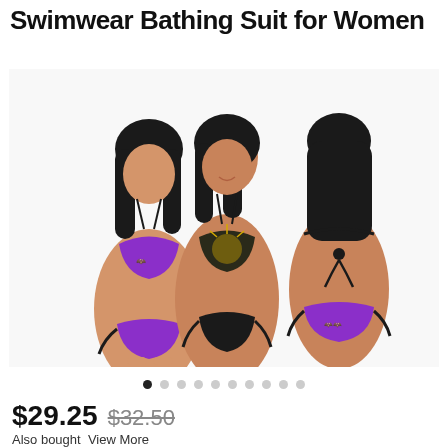Swimwear Bathing Suit for Women
[Figure (photo): Three views of women modeling Halloween-themed bikini swimwear. Left model wears purple bikini with black bat print. Center model wears black bikini with gold spider web print. Right model shows back view with purple bat-print bottoms and black tie-back top.]
● ○ ○ ○ ○ ○ ○ ○ ○ ○
$29.25 $32.50
Also boughtView More